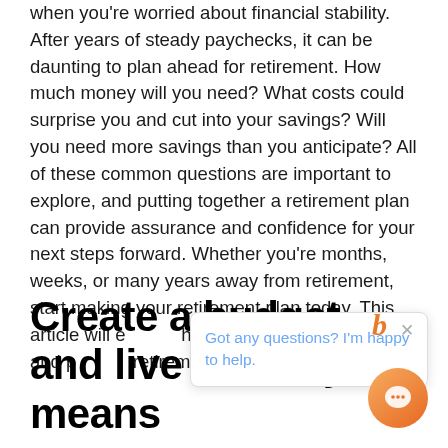when you're worried about financial stability. After years of steady paychecks, it can be daunting to plan ahead for retirement. How much money will you need? What costs could surprise you and cut into your savings? Will you need more savings than you anticipate? All of these common questions are important to explore, and putting together a retirement plan can provide assurance and confidence for your next steps forward. Whether you're months, weeks, or many years away from retirement, start making your retirement plan today. This article will explore how you can prepare, save, and plan for retirement.
Create a budget and live within your means